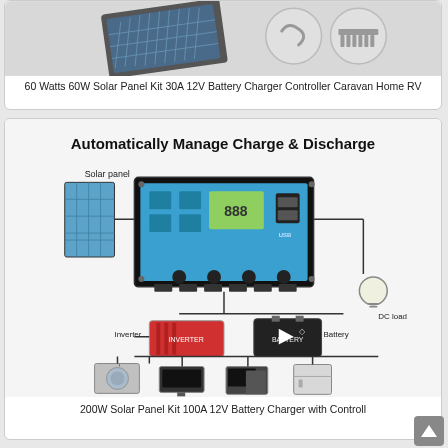[Figure (photo): Solar panel kit product image showing folded solar panel and accessories including cable connectors and comb]
60 Watts 60W Solar Panel Kit 30A 12V Battery Charger Controller Caravan Home RV
[Figure (schematic): Diagram titled 'Automatically Manage Charge & Discharge' showing a solar charge controller connected to a solar panel, battery, inverter, DC load (light bulb), and AC appliances (washing machine, TV, computer, refrigerator). Labels: Solar panel, Inverter, Battery, DC load.]
200W Solar Panel Kit 100A 12V Battery Charger with Controll